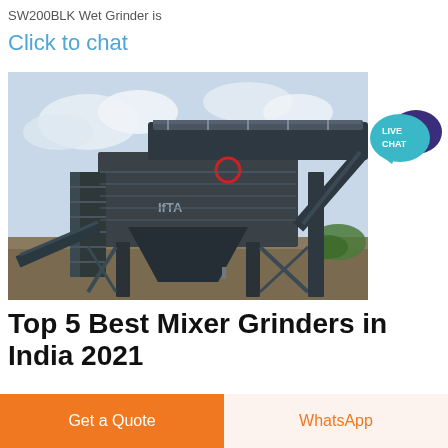SW200BLK Wet Grinder is
Click to chat
[Figure (photo): Industrial screening or batching plant equipment — large steel structure with conveyor belts, hopper, and scaffold stairs, set outdoors on a construction/mining site.]
[Figure (other): Live Chat speech bubble badge in teal/blue and purple colors with text 'LIVE CHAT']
Top 5 Best Mixer Grinders in India 2021
01 10 2021  In this article we have reviewed the 5 best mixer grinders of India for the year 20 2021 with a price Top 5 Best Mixer
Get a Quote
WhatsApp